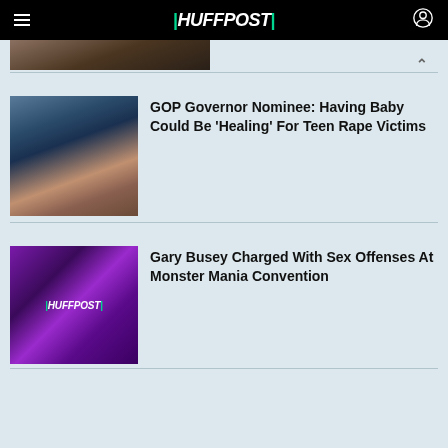HUFFPOST
[Figure (photo): Partial photo of a person in a suit, cropped at the bottom]
GOP Governor Nominee: Having Baby Could Be 'Healing' For Teen Rape Victims
[Figure (photo): Woman with dark hair against a dark background]
Gary Busey Charged With Sex Offenses At Monster Mania Convention
[Figure (logo): HuffPost logo on purple decorative background]